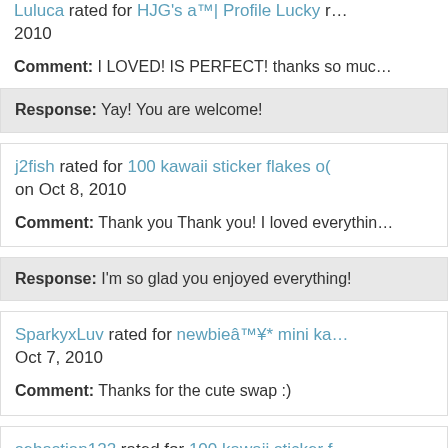Luluca rated for HJG's a™| Profile Lucky … 2010
Comment: I LOVED! IS PERFECT! thanks so muc…
Response: Yay! You are welcome!
j2fish rated for 100 kawaii sticker flakes o( on Oct 8, 2010
Comment: Thank you Thank you! I loved everythin…
Response: I'm so glad you enjoyed everything!
SparkyxLuv rated for newbieâ™¥* mini ka… Oct 7, 2010
Comment: Thanks for the cute swap :)
sebastian122 rated for 100 kawaii sticker f… ~OMG!! on Oct 7, 2010
Comment: =D Thanks!!